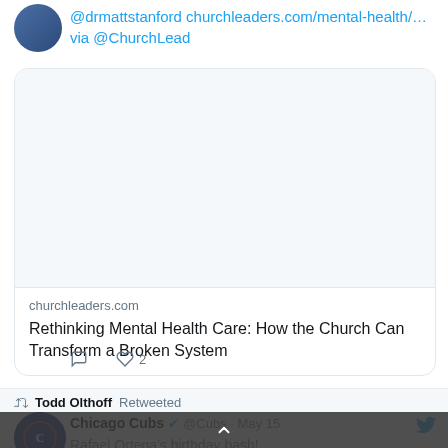@drmattstanford churchleaders.com/mental-health/… via @ChurchLead
[Figure (screenshot): Link preview card for churchleaders.com article about Rethinking Mental Health Care with blank image area]
churchleaders.com
Rethinking Mental Health Care: How the Church Can Transform a Broken System
2 likes
Todd Olthoff Retweeted
Chicago Cubs @Cubs · May 15
Rafael Ortega's birthday bash!